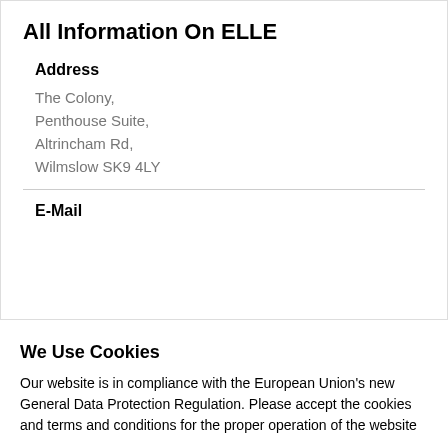All Information On ELLE
Address
The Colony,
Penthouse Suite,
Altrincham Rd,
Wilmslow SK9 4LY
E-Mail
We Use Cookies
Our website is in compliance with the European Union's new General Data Protection Regulation. Please accept the cookies and terms and conditions for the proper operation of the website